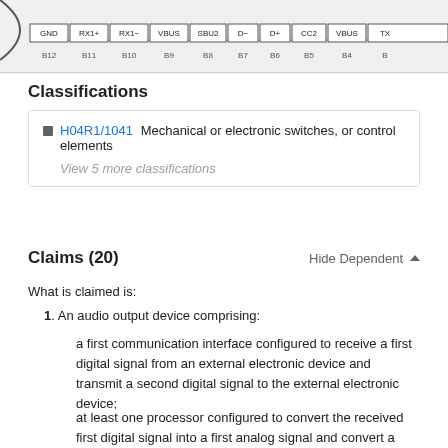[Figure (schematic): USB connector pinout diagram showing pins GND, RX1+, RX1-, VBUS, SBU2, D-, D+, CC2, VBUS, TX... with labels B12, B11, B10, B9, B8, B7, B6, B5, B4, B...]
Classifications
H04R1/1041  Mechanical or electronic switches, or control elements
View 5 more classifications
Claims (20)
Hide Dependent
What is claimed is:
1. An audio output device comprising:
a first communication interface configured to receive a first digital signal from an external electronic device and transmit a second digital signal to the external electronic device;
at least one processor configured to convert the received first digital signal into a first analog signal and convert a second analog signal into the second digital signal; and